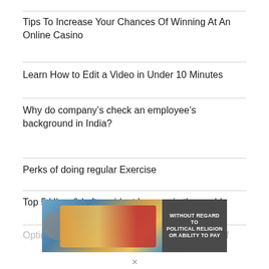Tips To Increase Your Chances Of Winning At An Online Casino
Learn How to Edit a Video in Under 10 Minutes
Why do company’s check an employee’s background in India?
Perks of doing regular Exercise
Top 5 Uber & Lyft accident lawyers in the world
Optimising Backlinks: 5 Proven and Practical Off...
[Figure (photo): Advertisement banner showing a Southwest Airlines airplane being loaded with cargo, with text overlay reading WITHOUT REGARD TO POLITICAL RELIGION OR ABILITY TO PAY]